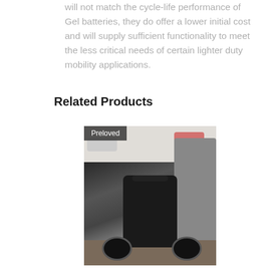will not match the cycle-life performance of Gel batteries, they do offer a lower initial cost and will supply sufficient functionality to meet the less critical needs of certain lighter duty mobility applications.
Related Products
[Figure (photo): A mobility scooter viewed from the front, parked outdoors on gravel/pavement. A dark badge with white text reading 'Preloved' appears in the top-left corner of the image. Other mobility scooters are visible in the background to the right.]